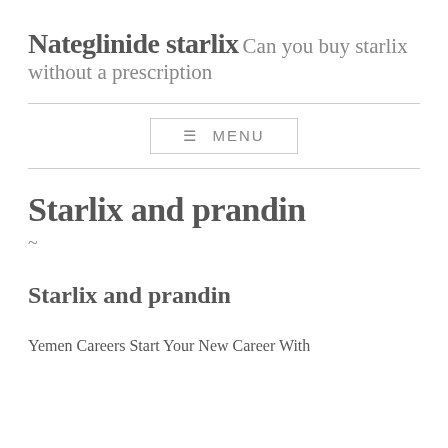Nateglinide starlix Can you buy starlix without a prescription
≡ MENU
Starlix and prandin
~
Starlix and prandin
Yemen Careers Start Your New Career With